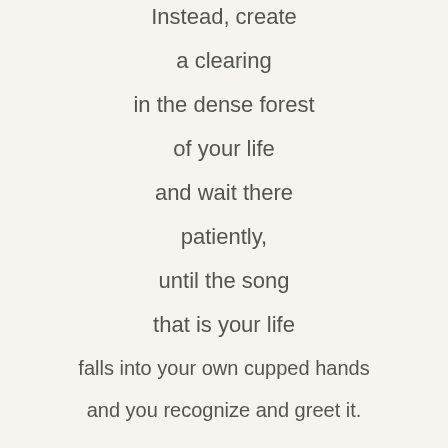Instead, create

a clearing

in the dense forest

of your life

and wait there

patiently,

until the song

that is your life

falls into your own cupped hands

and you recognize and greet it.